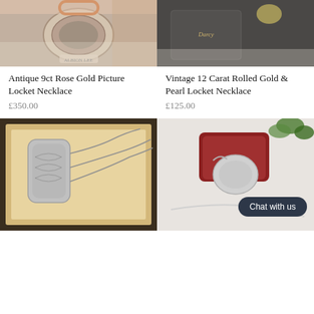[Figure (photo): Antique 9ct rose gold picture locket necklace in presentation box, showing engraved oval locket with Albion Lee text]
[Figure (photo): Vintage 12 carat rolled gold and pearl locket necklace shown on dark gift box with gold lettering]
Antique 9ct Rose Gold Picture Locket Necklace
£350.00
Vintage 12 Carat Rolled Gold & Pearl Locket Necklace
£125.00
[Figure (photo): Silver engraved locket necklace in vintage jewellery box with cream lining]
[Figure (photo): Silver heart locket necklace with pearl chain on red jewellery case, with Chat with us button overlay]